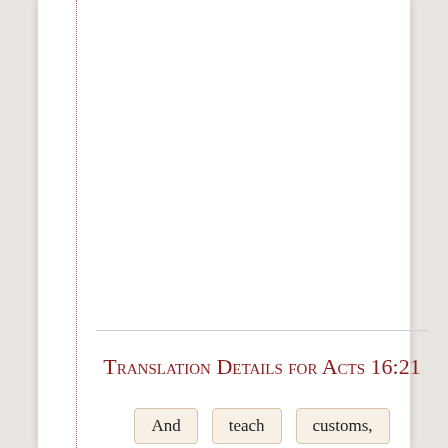Translation Details for Acts 16:21
And   teach   customs,